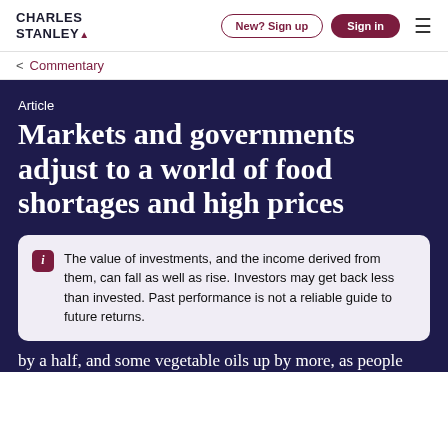CHARLES STANLEY
< Commentary
Article
Markets and governments adjust to a world of food shortages and high prices
The value of investments, and the income derived from them, can fall as well as rise. Investors may get back less than invested. Past performance is not a reliable guide to future returns.
by a half, and some vegetable oils up by more, as people